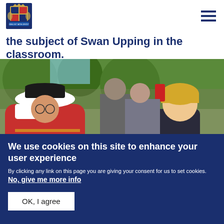[Royal coat of arms logo] [hamburger menu]
the subject of Swan Upping in the classroom.
[Figure (photo): Person in red ceremonial uniform with white peaked cap showing a swan to a child in a crowd outdoors near a river]
We use cookies on this site to enhance your user experience
By clicking any link on this page you are giving your consent for us to set cookies. No, give me more info
OK, I agree